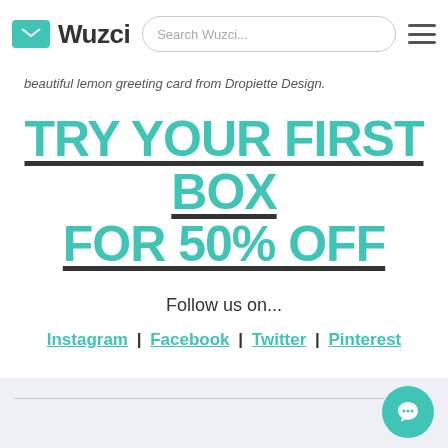Wuzci — Search Wuzci...
beautiful lemon greeting card from Dropiette Design.
TRY YOUR FIRST BOX FOR 50% OFF
Follow us on...
Instagram | Facebook | Twitter | Pinterest